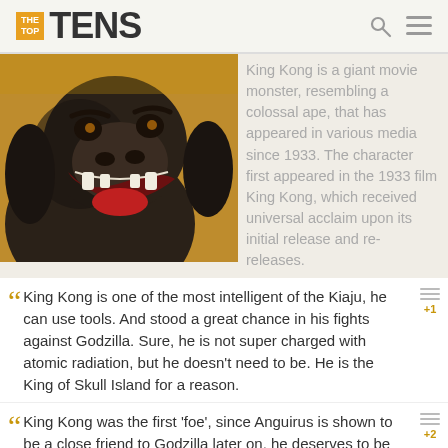THE TOP TENS
[Figure (photo): King Kong (giant gorilla) roaring with mouth wide open, dark fur, yellowish background]
King Kong is a giant movie monster, resembling a colossal ape, that has appeared in various media since 1933. The character first appeared in the 1933 film King Kong, which received universal acclaim upon its initial release and re-releases.
King Kong is one of the most intelligent of the Kiaju, he can use tools. And stood a great chance in his fights against Godzilla. Sure, he is not super charged with atomic radiation, but he doesn't need to be. He is the King of Skull Island for a reason.
King Kong was the first 'foe', since Anguirus is shown to be a close friend to Godzilla later on, he deserves to be on this list. He is also a major movie monster as well. Though if we were to think this out King Kong is